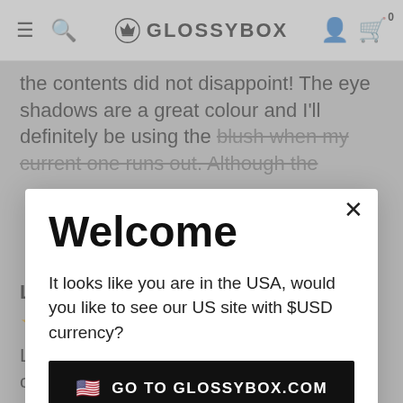GLOSSYBOX navigation bar with menu, search, logo, account, and cart icons
the contents did not disappoint! The eye shadows are a great colour and I'll definitely be using the blush when my current one runs out. Although the
Welcome
It looks like you are in the USA, would you like to see our US site with $USD currency?
GO TO GLOSSYBOX.COM
No Thanks, Stay on GLOSSYBOX.CO.UK
Loved my box
★★★★★
Loved my box, everything was great and I coud use, well worth the money :)